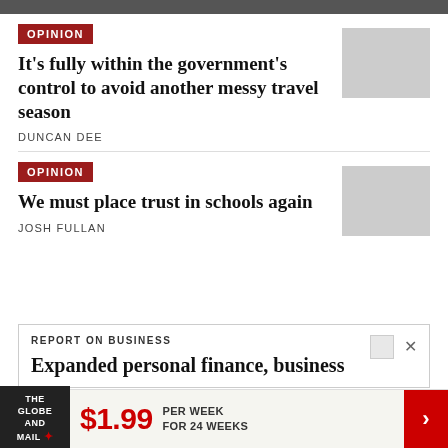OPINION
It’s fully within the government’s control to avoid another messy travel season
[Figure (photo): Photo of airport with luggage and travelers]
DUNCAN DEE
OPINION
We must place trust in schools again
[Figure (photo): Photo of students in a classroom]
JOSH FULLAN
REPORT ON BUSINESS
Expanded personal finance, business
$1.99 PER WEEK FOR 24 WEEKS